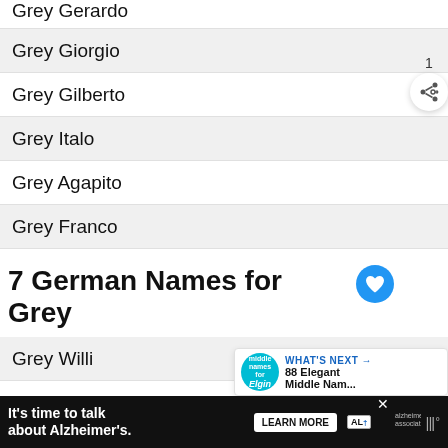Grey Gerardo
Grey Giorgio
Grey Gilberto
Grey Italo
Grey Agapito
Grey Franco
7 German Names for Grey
Grey Willi
Grey Helmut
Grey Rolf
Grey Günther
[Figure (infographic): What's Next banner showing middle names for Elgin article preview]
It's time to talk about Alzheimer's. LEARN MORE